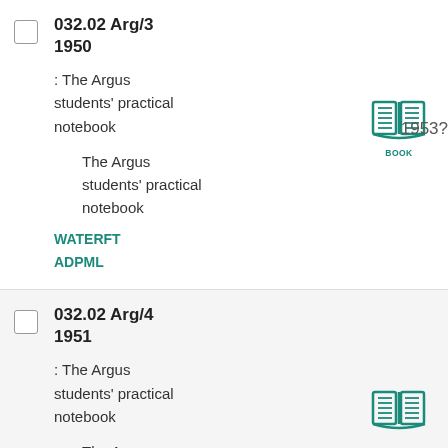032.02 Arg/3 1950 : The Argus students' practical notebook — The Argus students' practical notebook WATERFT ADPML 1953?
032.02 Arg/4 1951 : The Argus students' practical notebook — The Argus students' practical notebook